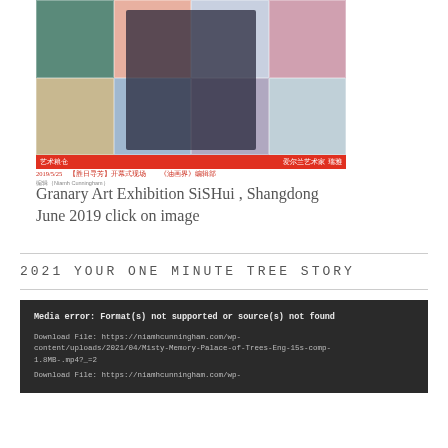[Figure (photo): A woman being interviewed at an art gallery in China, surrounded by colorful portrait artworks on the wall behind her. A TV lower-third banner reads in Chinese characters about the Granary Art Exhibition.]
Granary Art Exhibition SiSHui , Shangdong June 2019 click on image
2021 YOUR ONE MINUTE TREE STORY
Media error: Format(s) not supported or source(s) not found
Download File: https://niamhcunningham.com/wp-content/uploads/2021/04/Misty-Memory-Palace-of-Trees-Eng-15s-comp-1.8MB-.mp4?_=2
Download File: https://niamhcunningham.com/wp-